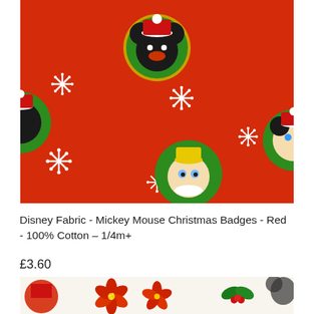[Figure (photo): Red Disney fabric with Mickey Mouse and Disney character Christmas badge circles (with green borders) and white snowflakes pattern on a red background.]
Disney Fabric - Mickey Mouse Christmas Badges - Red - 100% Cotton - 1/4m+
£3.60
[Figure (photo): Bottom strip of a second Disney Christmas fabric swatch showing characters and holiday elements on a white/cream background with poinsettias and holly.]